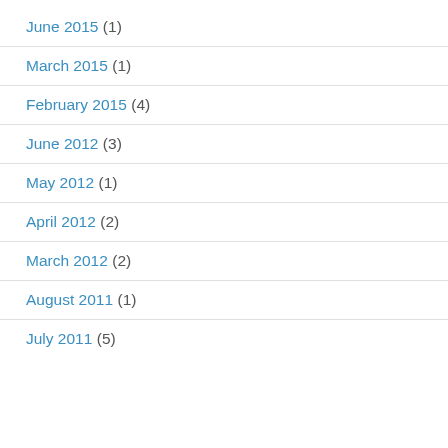June 2015 (1)
March 2015 (1)
February 2015 (4)
June 2012 (3)
May 2012 (1)
April 2012 (2)
March 2012 (2)
August 2011 (1)
July 2011 (5)